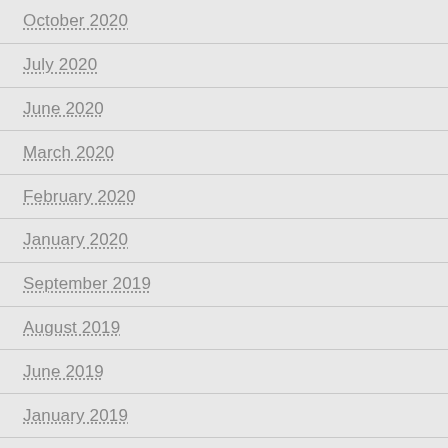October 2020
July 2020
June 2020
March 2020
February 2020
January 2020
September 2019
August 2019
June 2019
January 2019